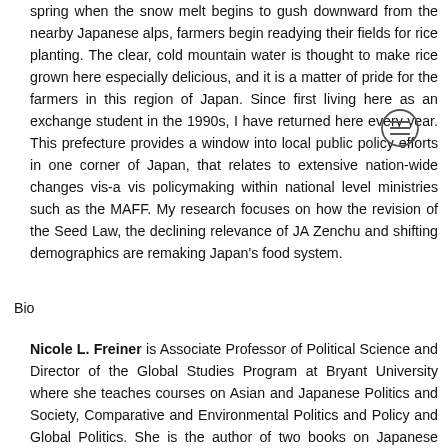spring when the snow melt begins to gush downward from the nearby Japanese alps, farmers begin readying their fields for rice planting. The clear, cold mountain water is thought to make rice grown here especially delicious, and it is a matter of pride for the farmers in this region of Japan. Since first living here as an exchange student in the 1990s, I have returned here every year. This prefecture provides a window into local public policy efforts in one corner of Japan, that relates to extensive nation-wide changes vis-a vis policymaking within national level ministries such as the MAFF. My research focuses on how the revision of the Seed Law, the declining relevance of JA Zenchu and shifting demographics are remaking Japan's food system.
Bio
Nicole L. Freiner is Associate Professor of Political Science and Director of the Global Studies Program at Bryant University where she teaches courses on Asian and Japanese Politics and Society, Comparative and Environmental Politics and Policy and Global Politics. She is the author of two books on Japanese Politics: The